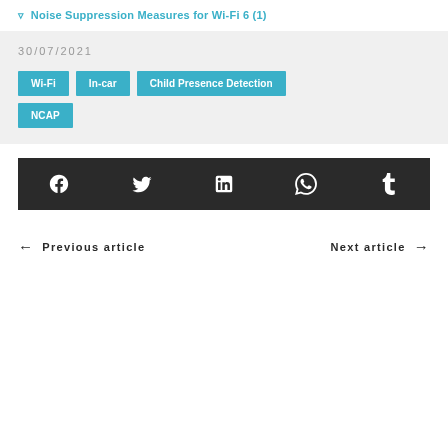Noise Suppression Measures for Wi-Fi 6 (1)
30/07/2021
Wi-Fi
In-car
Child Presence Detection
NCAP
[Figure (infographic): Social share bar with icons for Facebook, Twitter, LinkedIn, WhatsApp, and Tumblr on dark background]
← Previous article
Next article →